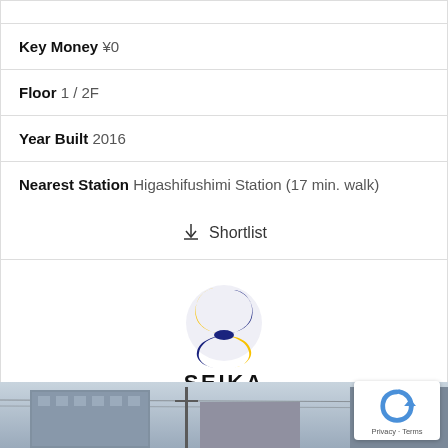Key Money ¥0
Floor 1 / 2F
Year Built 2016
Nearest Station Higashifushimi Station (17 min. walk)
↓ Shortlist
[Figure (logo): SEIKA real estate agency logo with blue and yellow S-shaped swoosh symbol above the text SEIKA]
SUMAINO SEIKA
[Figure (photo): Partial view of building exterior / street-level photo at the bottom of the page]
[Figure (other): Google reCAPTCHA badge in bottom right corner showing Privacy and Terms]